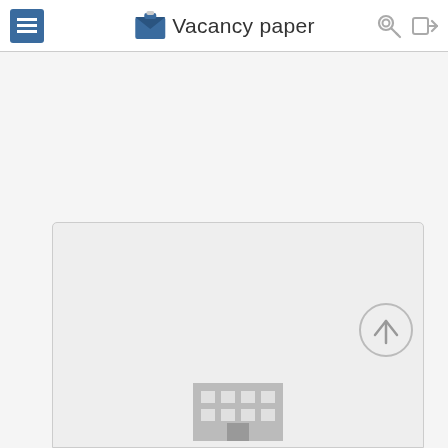Vacancy paper
[Figure (screenshot): Vacancy paper website screenshot showing a navigation header with hamburger menu icon, envelope logo with 'Vacancy paper' text, key icon, and login arrow icon. Below is a mostly empty content area with a card partially visible at the bottom containing a building/office icon and a scroll-to-top circular arrow button.]